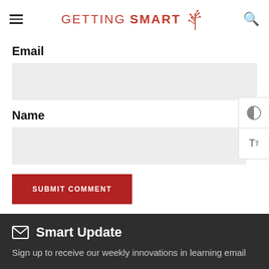Getting Smart
Email
Name
SUBMIT COMMENT
Smart Update
Sign up to receive our weekly innovations in learning email